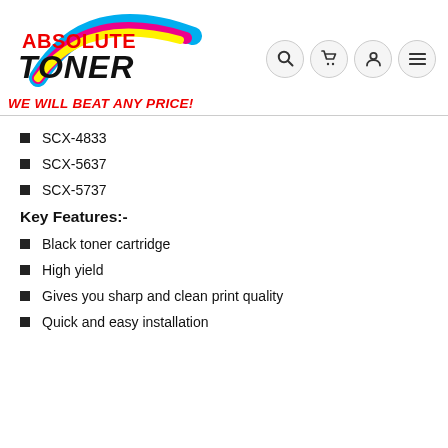[Figure (logo): Absolute Toner logo with colorful arc design and tagline WE WILL BEAT ANY PRICE!]
SCX-4833
SCX-5637
SCX-5737
Key Features:-
Black toner cartridge
High yield
Gives you sharp and clean print quality
Quick and easy installation